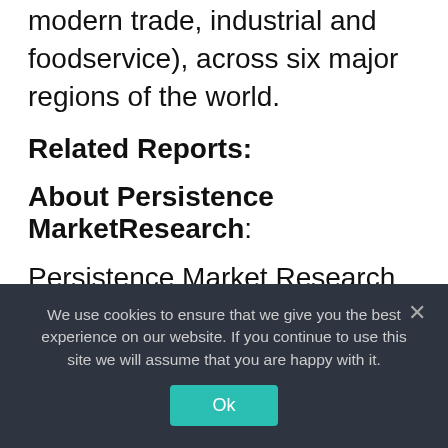modern trade, industrial and foodservice), across six major regions of the world.
Related Reports:
About Persistence MarketResearch:
Persistence Market Research (PMR), as a 3rd-party research organization, does operate through an exclusive amalgamation of market research and data analytics for helping businesses ride high, irrespective of the turbulence faced on the account of
We use cookies to ensure that we give you the best experience on our website. If you continue to use this site we will assume that you are happy with it.